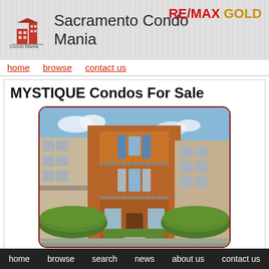Sacramento Condo Mania
[Figure (logo): RE/MAX GOLD logo in top right corner]
home
browse
contact us
MYSTIQUE Condos For Sale
[Figure (photo): Exterior photo of MYSTIQUE condos, multi-story townhomes with balconies, brick and stucco facade, blue curtains, surrounded by hedges]
MLS # 221113346
home   browse   search   news   about us   contact us